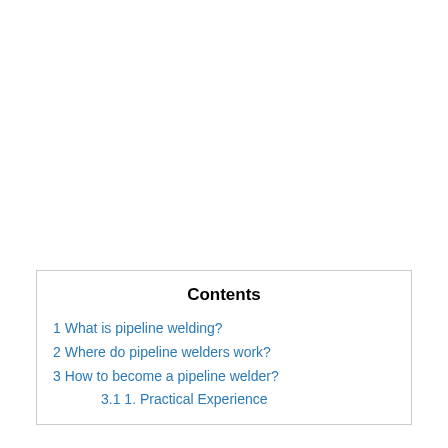Contents
1 What is pipeline welding?
2 Where do pipeline welders work?
3 How to become a pipeline welder?
3.1 1. Practical Experience